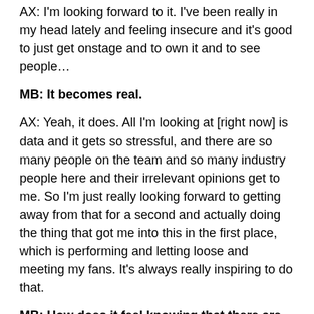AX: I'm looking forward to it. I've been really in my head lately and feeling insecure and it's good to just get onstage and to own it and to see people…
MB: It becomes real.
AX: Yeah, it does. All I'm looking at [right now] is data and it gets so stressful, and there are so many people on the team and so many industry people here and their irrelevant opinions get to me. So I'm just really looking forward to getting away from that for a second and actually doing the thing that got me into this in the first place, which is performing and letting loose and meeting my fans. It's always really inspiring to do that.
MB: How does it feel knowing that there are fans waiting for you?